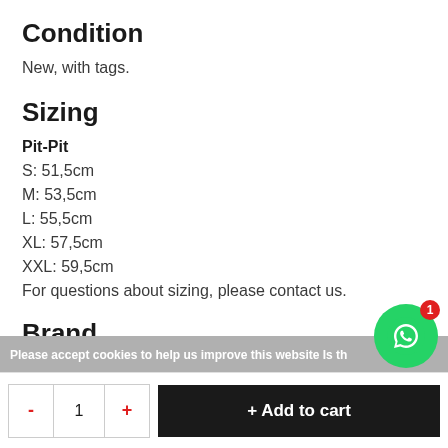Condition
New, with tags.
Sizing
Pit-Pit
S: 51,5cm
M: 53,5cm
L: 55,5cm
XL: 57,5cm
XXL: 59,5cm
For questions about sizing, please contact us.
Brand
Please accept cookies to help us improve this website Is th
+ Add to cart